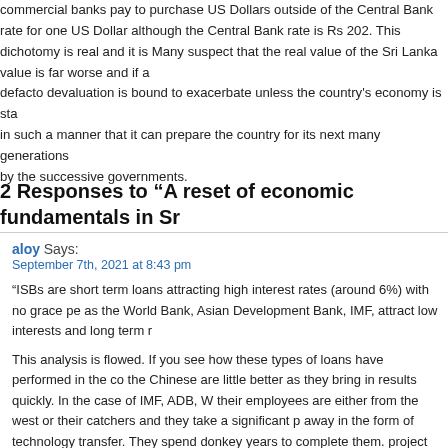commercial banks pay to purchase US Dollars outside of the Central Bank rate for one US Dollar although the Central Bank rate is Rs 202. This dichotomy is real and it is Many suspect that the real value of the Sri Lanka value is far worse and if a defacto devaluation is bound to exacerbate unless the country's economy is sta in such a manner that it can prepare the country for its next many generations by the successive governments.
2 Responses to “A reset of economic fundamentals in Sr
aloy Says: September 7th, 2021 at 8:43 pm
“ISBs are short term loans attracting high interest rates (around 6%) with no grace pe as the World Bank, Asian Development Bank, IMF, attract low interests and long term r
This analysis is flowed. If you see how these types of loans have performed in the co the Chinese are little better as they bring in results quickly. In the case of IMF, ADB, W their employees are either from the west or their catchers and they take a significant p away in the form of technology transfer. They spend donkey years to complete them. project started in 2013 at cost of about US$ 260 million but still slogging on. But our k needed has been completed in record time despite what ever the warts it had. They to
I put the blame on rulers. While even our neighbors talk of semiconductor shortage in the most efficient ways of mitigating the climate change by capturing the CO2 in the a those writing volumes in this forum still think our problem is in our constitution. And because we do not have a Hitler even without knowing his philosophy; he actually w others to make things work and capture the world.